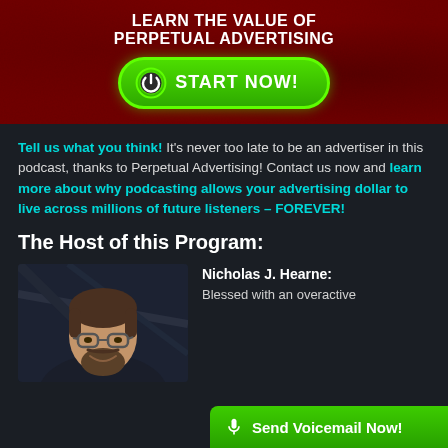[Figure (illustration): Red textured banner with white bold text 'Learn the Value of PERPETUAL ADVERTISING' and a green START NOW! button with power icon]
Tell us what you think! It's never too late to be an advertiser in this podcast, thanks to Perpetual Advertising! Contact us now and learn more about why podcasting allows your advertising dollar to live across millions of future listeners – FOREVER!
The Host of this Program:
[Figure (photo): Photo of Nicholas J. Hearne, a man with glasses and a beard, smiling, in a dark studio setting]
Nicholas J. Hearne: Blessed with an overactive
Send Voicemail Now!